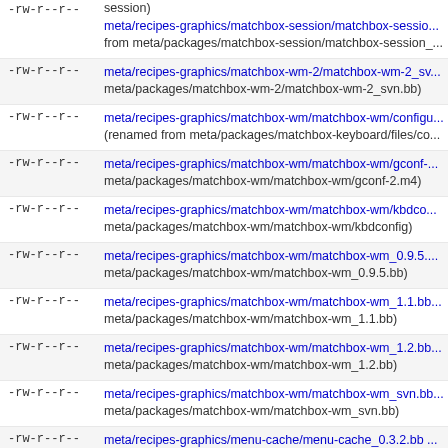-rw-r--r-- (renamed from meta/packages/matchbox-session/matchbox-session) meta/recipes-graphics/matchbox-session/matchbox-session from meta/packages/matchbox-session/matchbox-session_...
-rw-r--r-- meta/recipes-graphics/matchbox-wm-2/matchbox-wm-2_sv... meta/packages/matchbox-wm-2/matchbox-wm-2_svn.bb)
-rw-r--r-- meta/recipes-graphics/matchbox-wm/matchbox-wm/configu (renamed from meta/packages/matchbox-keyboard/files/co...
-rw-r--r-- meta/recipes-graphics/matchbox-wm/matchbox-wm/gconf-... meta/packages/matchbox-wm/matchbox-wm/gconf-2.m4)
-rw-r--r-- meta/recipes-graphics/matchbox-wm/matchbox-wm/kbdco... meta/packages/matchbox-wm/matchbox-wm/kbdconfig)
-rw-r--r-- meta/recipes-graphics/matchbox-wm/matchbox-wm_0.9.5.... meta/packages/matchbox-wm/matchbox-wm_0.9.5.bb)
-rw-r--r-- meta/recipes-graphics/matchbox-wm/matchbox-wm_1.1.bb... meta/packages/matchbox-wm/matchbox-wm_1.1.bb)
-rw-r--r-- meta/recipes-graphics/matchbox-wm/matchbox-wm_1.2.bb... meta/packages/matchbox-wm/matchbox-wm_1.2.bb)
-rw-r--r-- meta/recipes-graphics/matchbox-wm/matchbox-wm_svn.bb... meta/packages/matchbox-wm/matchbox-wm_svn.bb)
-rw-r--r-- meta/recipes-graphics/menu-cache/menu-cache_0.3.2.bb ... meta/packages/menu-cache/menu-cache_0.3.2.bb)
-rw-r--r-- meta/recipes-graphics/mesa/mesa-common.inc (renamed from meta/packages/mesa/mesa-common.inc)
-rw-r--r-- meta/recipes-graphics/mesa/mesa-dri-glsl-native_7.8.2.bb... meta/packages/mesa/mesa-dri-glsl-native_7.8.2.bb)
-rw-r--r-- meta/recipes-graphics/mesa/mesa-dri/cross2.patch (renamed...